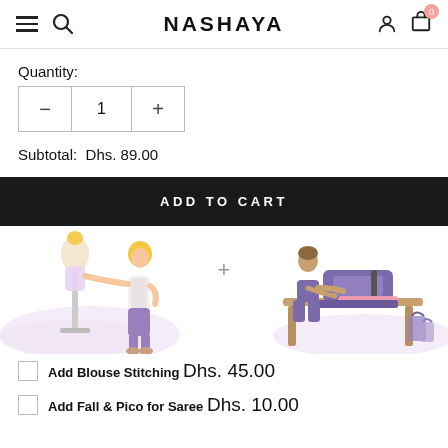NASHAYA
Quantity:
Subtotal: Dhs. 89.00
ADD TO CART
[Figure (illustration): Two illustrations: a fashion designer adjusting a mannequin on the left, and a tailor sewing at a machine on the right, with a plus symbol between them. Soft pastel purple/pink background tones.]
Add Blouse Stitching Dhs. 45.00
Add Fall & Pico for Saree Dhs. 10.00